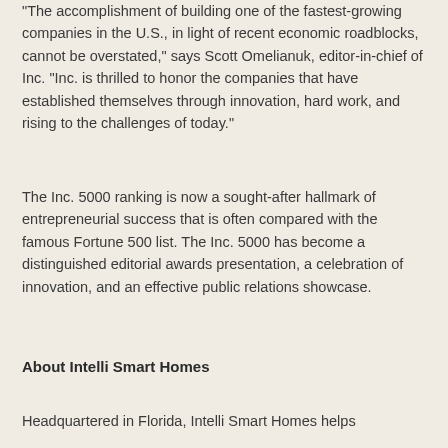"The accomplishment of building one of the fastest-growing companies in the U.S., in light of recent economic roadblocks, cannot be overstated," says Scott Omelianuk, editor-in-chief of Inc. "Inc. is thrilled to honor the companies that have established themselves through innovation, hard work, and rising to the challenges of today."
The Inc. 5000 ranking is now a sought-after hallmark of entrepreneurial success that is often compared with the famous Fortune 500 list. The Inc. 5000 has become a distinguished editorial awards presentation, a celebration of innovation, and an effective public relations showcase.
About Intelli Smart Homes
Headquartered in Florida, Intelli Smart Homes helps